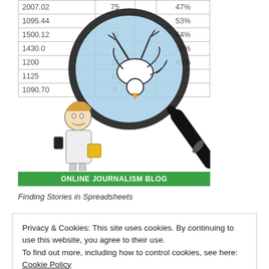[Figure (illustration): An infographic image showing a spreadsheet with numerical data (values like 2007.02, 1095.44, 1500.12, 1430.0, 1200, 1125, 1090.70 and percentages 47%, 53%, 64%, 56%, 45% with counts 75, 35, 22, 13, 9) overlaid with a large magnifying glass containing a cartoon drawing of a falling character (chicken/person), and a cartoon woman journalist figure to the left. A green bar at the bottom reads ONLINE JOURNALISM BLOG.]
Finding Stories in Spreadsheets
Privacy & Cookies: This site uses cookies. By continuing to use this website, you agree to their use.
To find out more, including how to control cookies, see here: Cookie Policy
Close and accept